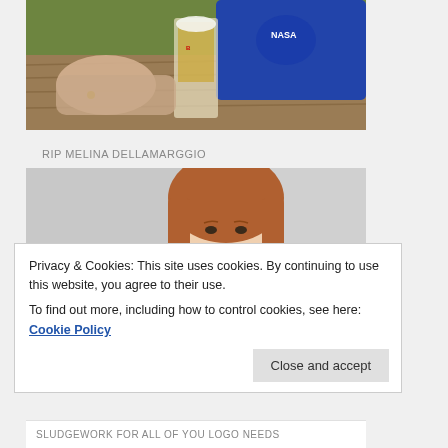[Figure (photo): Person sitting at outdoor wooden table with a beer glass, wearing a blue NASA t-shirt. Green lawn visible in background.]
RIP MELINA DELLAMARGGIO
[Figure (photo): Portrait photo of a young woman with long reddish-brown hair against a light grey background, looking slightly downward.]
Privacy & Cookies: This site uses cookies. By continuing to use this website, you agree to their use.
To find out more, including how to control cookies, see here: Cookie Policy
Close and accept
SLUDGEWORK FOR ALL OF YOU LOGO NEEDS